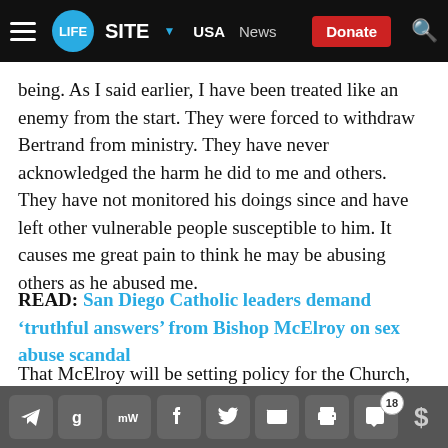LIFESITE — USA — News — Donate
being. As I said earlier, I have been treated like an enemy from the start. They were forced to withdraw Bertrand from ministry. They have never acknowledged the harm he did to me and others. They have not monitored his doings since and have left other vulnerable people susceptible to him. It causes me great pain to think he may be abusing others as he abused me.
READ: San Diego Catholic leaders demand 'truthful answers' from Bishop McElroy on sex abuse scandal
That McElroy will be setting policy for the Church, and likely be involved in the selection of the next pontiff,
Share icons: Telegram, Gab, MeWe, Facebook, Twitter, Email, Print, Comments (18), Donate